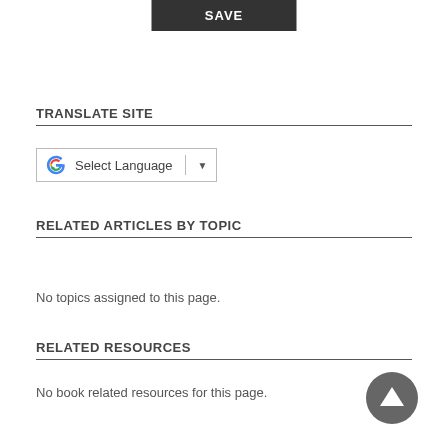[Figure (screenshot): SAVE button — dark gray rectangle with white bold text 'SAVE']
TRANSLATE SITE
[Figure (screenshot): Google Translate widget with G logo, 'Select Language' text, divider, and dropdown arrow]
RELATED ARTICLES BY TOPIC
No topics assigned to this page.
RELATED RESOURCES
No book related resources for this page.